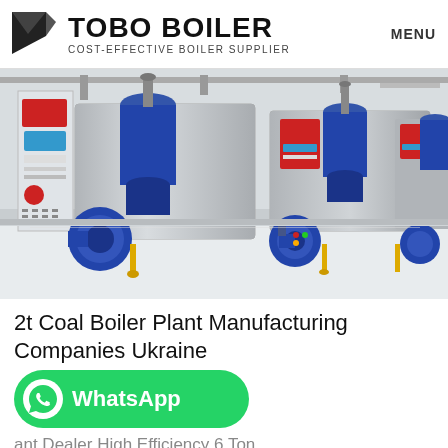TOBO BOILER COST-EFFECTIVE BOILER SUPPLIER | MENU
[Figure (photo): Industrial boiler room showing two large stainless steel boilers with blue components, burners, piping, and control panels installed on a white floor]
2t Coal Boiler Plant Manufacturing Companies Ukraine
[Figure (logo): WhatsApp button with phone icon and white text 'WhatsApp' on green rounded rectangle background]
ant Dealer High Efficiency 6 Ton Kyrgyzstan. Agent 2t Coal Boiler Plant High Efficiency